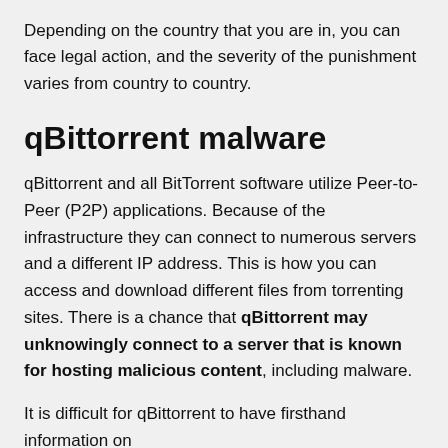Depending on the country that you are in, you can face legal action, and the severity of the punishment varies from country to country.
qBittorrent malware
qBittorrent and all BitTorrent software utilize Peer-to-Peer (P2P) applications. Because of the infrastructure they can connect to numerous servers and a different IP address. This is how you can access and download different files from torrenting sites. There is a chance that qBittorrent may unknowingly connect to a server that is known for hosting malicious content, including malware.
It is difficult for qBittorrent to have firsthand information on